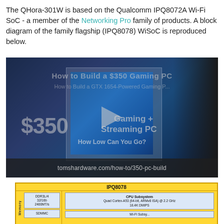The QHora-301W is based on the Qualcomm IPQ8072A Wi-Fi SoC - a member of the Networking Pro family of products. A block diagram of the family flagship (IPQ8078) WiSoC is reproduced below.
[Figure (screenshot): Embedded video thumbnail showing a gaming PC build with '$350 Gaming + Streaming PC - How Low Can You Go?' text overlay and a play button. URL: tomshardware.com/how-to/350-pc-build]
[Figure (schematic): Partial block diagram of IPQ8078 WiSoC showing CPU Subsystem (Quad Cortex-A53 64-bit ARMv8 ISA @ 2.2 GHz, 18.4K DMIPS), memory interface (DDR3L/4 32/16b 2400MT/s, SDMMC), and partial Wi-Fi subsystem at the bottom.]